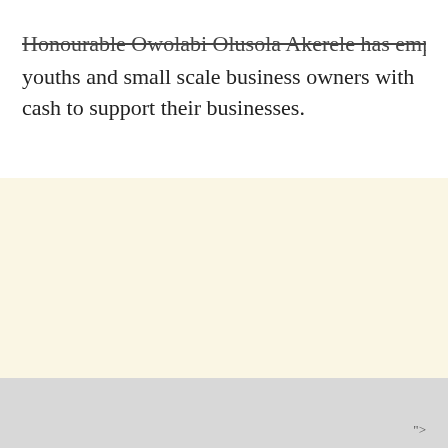Honourable Owolabi Olusola Akerele has empowered youths and small scale business owners with cash to support their businesses.
[Figure (photo): Large blank cream/off-white area, likely a photo placeholder or image area.]
">